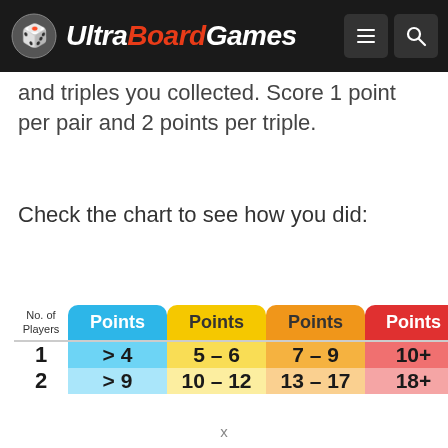UltraBoardGames
and triples you collected. Score 1 point per pair and 2 points per triple.
Check the chart to see how you did:
| No. of Players | Points | Points | Points | Points |
| --- | --- | --- | --- | --- |
| 1 | > 4 | 5 – 6 | 7 – 9 | 10+ |
| 2 | > 9 | 10 – 12 | 13 – 17 | 18+ |
x